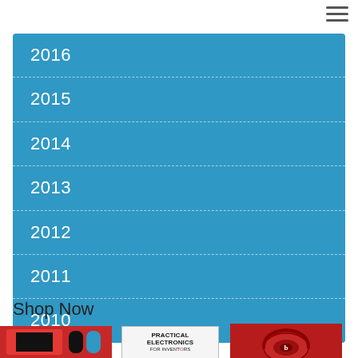[Figure (other): Hamburger menu icon (three horizontal lines) in top-right corner]
2016
2015
2014
2013
2012
2011
2010
Shop Now
[Figure (photo): Nintendo Switch console box in red]
[Figure (photo): Book cover: Practical Electronics For Inventors]
[Figure (photo): Beats wireless earbuds in red]